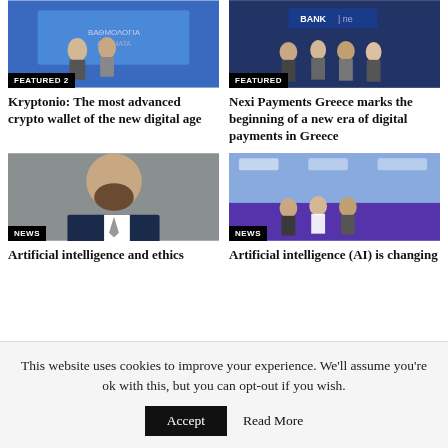[Figure (photo): Two men standing in front of a blue screen with Greek text, badge reads FEATURED 2]
Kryptonio: The most advanced crypto wallet of the new digital age
[Figure (photo): Group of people on stage in front of a screen showing BANK and Nexi branding, badge reads FEATURED]
Nexi Payments Greece marks the beginning of a new era of digital payments in Greece
[Figure (photo): Close-up of a bearded man in a suit, badge reads NEWS]
Artificial intelligence and ethics
[Figure (photo): Three men standing on a stage with colorful lighting and a banner behind them, badge reads NEWS]
Artificial intelligence (AI) is changing
This website uses cookies to improve your experience. We'll assume you're ok with this, but you can opt-out if you wish.
Accept
Read More